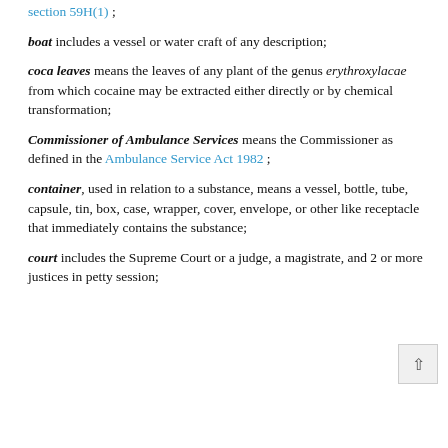section 59H(1) ;
boat includes a vessel or water craft of any description;
coca leaves means the leaves of any plant of the genus erythroxylacae from which cocaine may be extracted either directly or by chemical transformation;
Commissioner of Ambulance Services means the Commissioner as defined in the Ambulance Service Act 1982 ;
container, used in relation to a substance, means a vessel, bottle, tube, capsule, tin, box, case, wrapper, cover, envelope, or other like receptacle that immediately contains the substance;
court includes the Supreme Court or a judge, a magistrate, and 2 or more justices in petty session;